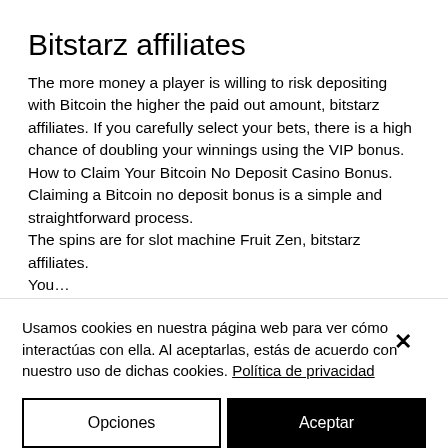Bitstarz affiliates
The more money a player is willing to risk depositing with Bitcoin the higher the paid out amount, bitstarz affiliates. If you carefully select your bets, there is a high chance of doubling your winnings using the VIP bonus. How to Claim Your Bitcoin No Deposit Casino Bonus. Claiming a Bitcoin no deposit bonus is a simple and straightforward process.
The spins are for slot machine Fruit Zen, bitstarz affiliates.
You…
Usamos cookies en nuestra página web para ver cómo interactúas con ella. Al aceptarlas, estás de acuerdo con nuestro uso de dichas cookies. Política de privacidad
Opciones
Aceptar